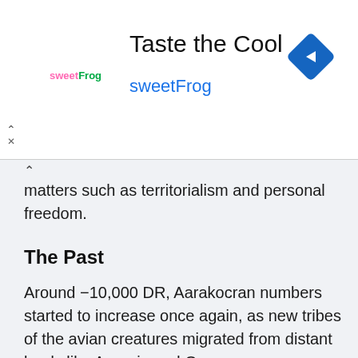[Figure (other): SweetFrog advertisement banner with logo, tagline 'Taste the Cool', brand name 'sweetFrog', and a blue diamond navigation icon]
matters such as territorialism and personal freedom.
The Past
Around −10,000 DR, Aarakocran numbers started to increase once again, as new tribes of the avian creatures migrated from distant lands like Anauria and Quoya.
The Wing Lords of the kingdom of Akaniakeh (modern day High Moor) aided these tribes in settling the northernmost reaches of the settled